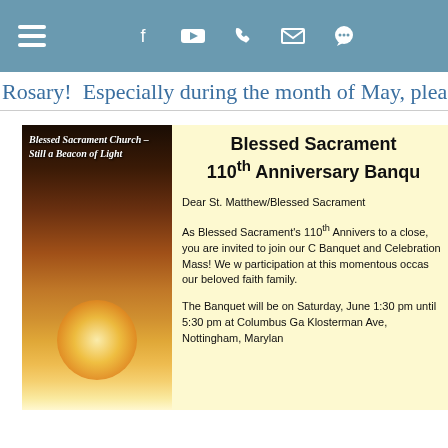Navigation bar with hamburger menu and icons: Facebook, YouTube, phone, email, chat
Rosary!  Especially during the month of May, please pra
[Figure (photo): Church photo with golden candlelight glow and caption 'Blessed Sacrament Church – Still a Beacon of Light']
Blessed Sacrament 110th Anniversary Banqu
Dear St. Matthew/Blessed Sacrament
As Blessed Sacrament's 110th Annivers to a close, you are invited to join our C Banquet and Celebration Mass! We w participation at this momentous occas our beloved faith family.
The Banquet will be on Saturday, June 1:30 pm until 5:30 pm at Columbus Ga Klosterman Ave, Nottingham, Marylan